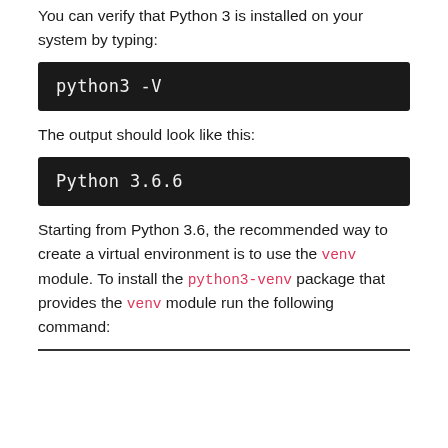You can verify that Python 3 is installed on your system by typing:
python3 -V
The output should look like this:
Python 3.6.6
Starting from Python 3.6, the recommended way to create a virtual environment is to use the venv module. To install the python3-venv package that provides the venv module run the following command: